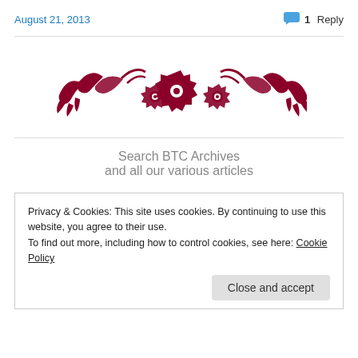August 21, 2013
1 Reply
[Figure (illustration): Decorative ornamental divider featuring dark red/maroon floral and scroll motifs with three circular gear-like rosette patterns in the center]
Search BTC Archives and all our various articles
Privacy & Cookies: This site uses cookies. By continuing to use this website, you agree to their use. To find out more, including how to control cookies, see here: Cookie Policy
Close and accept